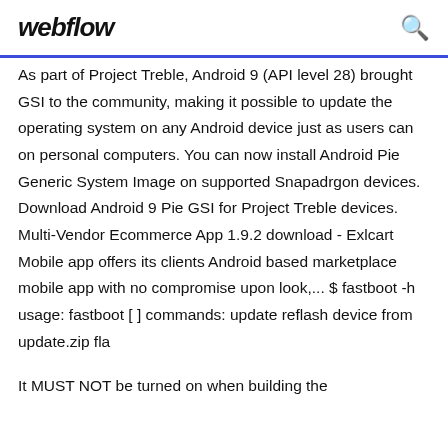webflow
As part of Project Treble, Android 9 (API level 28) brought GSI to the community, making it possible to update the operating system on any Android device just as users can on personal computers. You can now install Android Pie Generic System Image on supported Snapadrgon devices. Download Android 9 Pie GSI for Project Treble devices. Multi-Vendor Ecommerce App 1.9.2 download - Exlcart Mobile app offers its clients Android based marketplace mobile app with no compromise upon look,... $ fastboot -h usage: fastboot [ ] commands: update reflash device from update.zip fla
It MUST NOT be turned on when building the